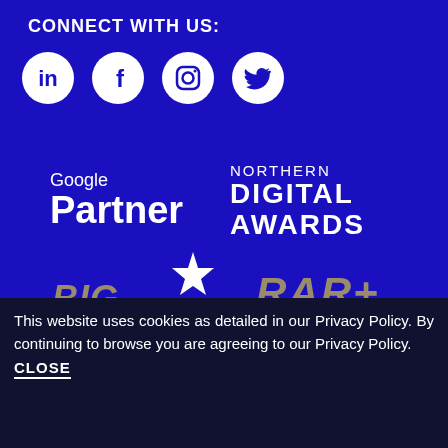CONNECT WITH US:
[Figure (illustration): Four social media icons in white circles: LinkedIn, Facebook, Instagram, Twitter]
[Figure (logo): Google Partner logo in white text on blue background]
[Figure (logo): Northern Digital Awards logo in white text on blue background]
[Figure (logo): Big Chip award logo in gold/tan italic text with star]
[Figure (logo): RAR+ Recommended logo in gold/tan text]
[Figure (logo): The Drum B2B Awards logo in gold/tan italic text]
[Figure (logo): Crown Commercial Service logo with crown icon]
This website uses cookies as detailed in our Privacy Policy. By continuing to browse you are agreeing to our Privacy Policy.
CLOSE